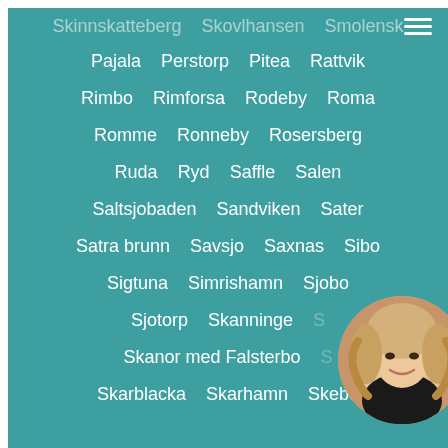Pajala
Perstorp
Pitea
Rattvik
Rimbo
Rimforsa
Rodeby
Roma
Romme
Ronneby
Rosersberg
Ruda
Ryd
Saffle
Salen
Saltsjobaden
Sandviken
Sater
Satra brunn
Savsjo
Saxnas
Sibo
Sigtuna
Simrishamn
Sjobo
Sjotorp
Skanninge
Skanor med Falsterbo
Skarblacka
Skarhamn
Skebo
[Figure (photo): Circular portrait photo of a blonde woman in dark clothing, overlapping bottom-right of the content area]